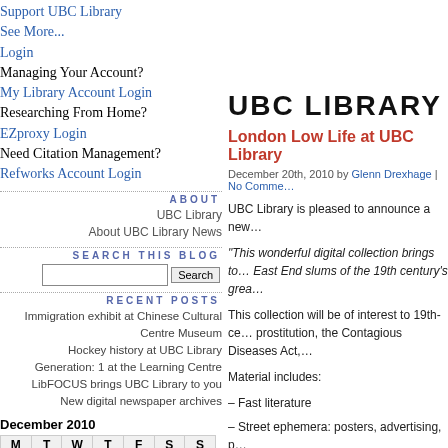Support UBC Library
See More...
Login
Managing Your Account?
My Library Account Login
Researching From Home?
EZproxy Login
Need Citation Management?
Refworks Account Login
ABOUT
UBC Library
About UBC Library News
SEARCH THIS BLOG
RECENT POSTS
Immigration exhibit at Chinese Cultural Centre Museum
Hockey history at UBC Library
Generation: 1 at the Learning Centre
LibFOCUS brings UBC Library to you
New digital newspaper archives
| M | T | W | T | F | S | S |
| --- | --- | --- | --- | --- | --- | --- |
|  |  | 1 | 2 | 3 | 4 | 5 |
| 6 | 7 | 8 | 9 | 10 | 11 | 12 |
| 13 | 14 | 15 | 16 | 17 | 18 | 19 |
UBC LIBRARY
London Low Life at UBC Library
December 20th, 2010 by Glenn Drexhage | No Comme...
UBC Library is pleased to announce a new...
"This wonderful digital collection brings to... East End slums of the 19th century's grea...
This collection will be of interest to 19th-ce... prostitution, the Contagious Diseases Act,...
Material includes:
– Fast literature
– Street ephemera: posters, advertising, p...
– Penny fiction
– Cartoons